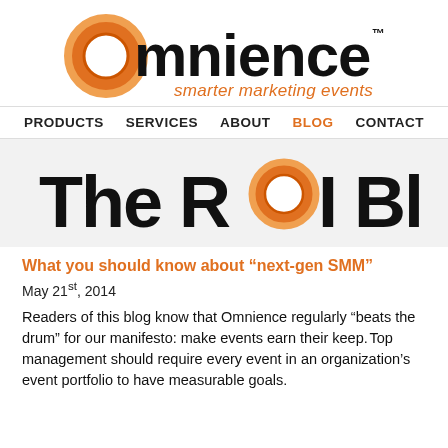[Figure (logo): Omnience logo with orange ring 'o' and black bold text 'mnience' with TM mark, and orange italic tagline 'smarter marketing events']
PRODUCTS   SERVICES   ABOUT   BLOG   CONTACT
[Figure (logo): The ROI Blog banner with large bold black text and an orange ring replacing the 'O' in ROI]
What you should know about “next-gen SMM”
May 21st, 2014
Readers of this blog know that Omnience regularly “beats the drum” for our manifesto: make events earn their keep. Top management should require every event in an organization’s event portfolio to have measurable goals.